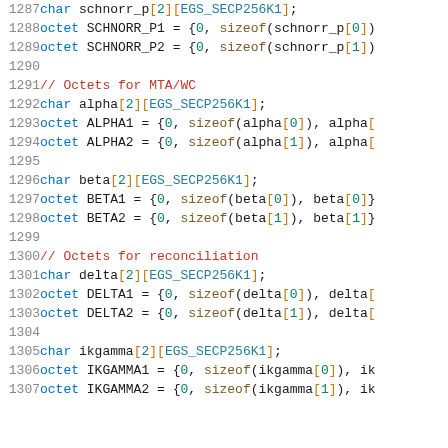1287    char schnorr_p[2][EGS_SECP256K1];
1288    octet SCHNORR_P1 = {0, sizeof(schnorr_p[0])
1289    octet SCHNORR_P2 = {0, sizeof(schnorr_p[1])
1290
1291    // Octets for MTA/WC
1292    char alpha[2][EGS_SECP256K1];
1293    octet ALPHA1 = {0, sizeof(alpha[0]), alpha[
1294    octet ALPHA2 = {0, sizeof(alpha[1]), alpha[
1295
1296    char beta[2][EGS_SECP256K1];
1297    octet BETA1 = {0, sizeof(beta[0]), beta[0]}
1298    octet BETA2 = {0, sizeof(beta[1]), beta[1]}
1299
1300    // Octets for reconciliation
1301    char delta[2][EGS_SECP256K1];
1302    octet DELTA1 = {0, sizeof(delta[0]), delta[
1303    octet DELTA2 = {0, sizeof(delta[1]), delta[
1304
1305    char ikgamma[2][EGS_SECP256K1];
1306    octet IKGAMMA1 = {0, sizeof(ikgamma[0]), ik
1307    octet IKGAMMA2 = {0, sizeof(ikgamma[1]), ik